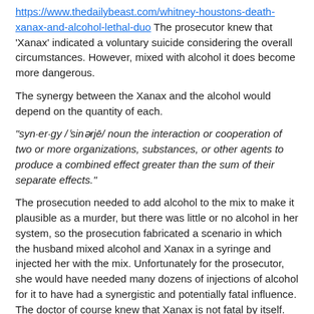https://www.thedailybeast.com/whitney-houstons-death-xanax-and-alcohol-lethal-duo The prosecutor knew that 'Xanax' indicated a voluntary suicide considering the overall circumstances. However, mixed with alcohol it does become more dangerous.
The synergy between the Xanax and the alcohol would depend on the quantity of each.
"syn·er·gy /ˈsinərjē/ noun the interaction or cooperation of two or more organizations, substances, or other agents to produce a combined effect greater than the sum of their separate effects."
The prosecution needed to add alcohol to the mix to make it plausible as a murder, but there was little or no alcohol in her system, so the prosecution fabricated a scenario in which the husband mixed alcohol and Xanax in a syringe and injected her with the mix. Unfortunately for the prosecutor, she would have needed many dozens of injections of alcohol for it to have had a synergistic and potentially fatal influence. The doctor of course knew that Xanax is not fatal by itself. He would not mix a 'murder syringe' of a fraction of an ounce of alcohol and Xanax.
The Xanax found in her system was two times the therapeutic level according to news articles, so speculation that involves calling it a 'near lethal dose' requires a vast amount of alcohol, which did not exist. The fact that she died with little Xanax in her stomach, and her 'cause of death' was drowning, means she died several hours after